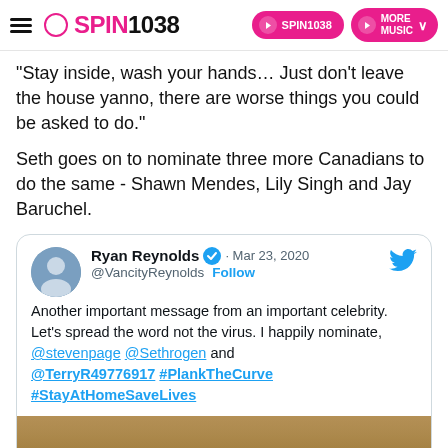SPIN1038
"Stay inside, wash your hands... Just don't leave the house yanno, there are worse things you could be asked to do."
Seth goes on to nominate three more Canadians to do the same - Shawn Mendes, Lily Singh and Jay Baruchel.
[Figure (screenshot): Embedded tweet from Ryan Reynolds (@VancityReynolds) dated Mar 23, 2020: 'Another important message from an important celebrity. Let's spread the word not the virus. I happily nominate, @stevenpage @Sethrogen and @TerryR49776917 #PlankTheCurve #StayAtHomeSaveLives' with a video thumbnail showing 'Watch on Twitter']